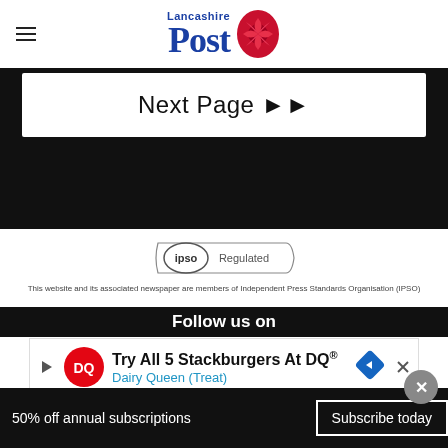Lancashire Post
Next Page ▶▶
[Figure (logo): IPSO Regulated badge]
This website and its associated newspaper are members of Independent Press Standards Organisation (IPSO)
[Figure (infographic): Dairy Queen advertisement: Try All 5 Stackburgers At DQ® Dairy Queen (Treat)]
Follow us on
50% off annual subscriptions   Subscribe today